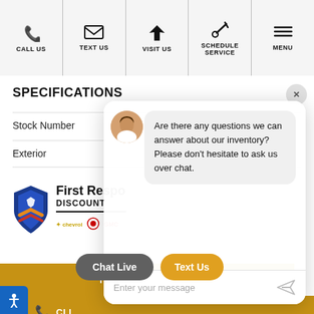[Figure (screenshot): Navigation bar with icons and labels: CALL US, TEXT US, VISIT US, SCHEDULE SERVICE, MENU]
SPECIFICATIONS
Stock Number
Exterior
[Figure (logo): First Responder Discount badge with Chevrolet, Buick, and GMC logos]
[Figure (screenshot): Chat widget overlay with agent avatar, message bubble saying: Are there any questions we can answer about our inventory? Please don't hesitate to ask us over chat. Input field: Enter your message. Buttons: Chat Live, Text Us]
Are there any questions we can answer about our inventory? Please don't hesitate to ask us over chat.
Enter your message
Chat Live
Text Us